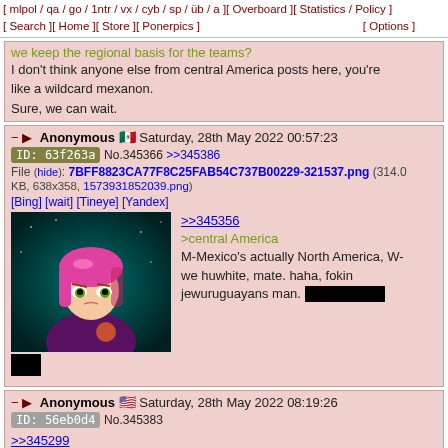[ mlpol / qa / go / 1ntr / vx / cyb / sp / üb / a ][ Overboard ][ Statistics / Policy ] [ Search ][ Home ][ Store ][ Ponerpics ] [ Options ]
we keep the regional basis for the teams?
I don't think anyone else from central America posts here, you're like a wildcard mexanon.
Sure, we can wait.
Anonymous 🇲🇽 Saturday, 28th May 2022 00:57:23
ID: 63f263a No.345366 >>345386
File (hide): 7BFF8823CA77F8C25FAB54C737B00229-321537.png (314.0 KB, 638x358, 1573931852039.png)
[Bing] [wait] [Tineye] [Yandex]
[Figure (illustration): Anime-style girl with pink hair against dark background]
>>345356
>central America
M-Mexico's actually North America, W-we huwhite, mate. haha, fokin jewuruguayans man.
Anonymous 🇺🇸 Saturday, 28th May 2022 08:19:26
ID: 56eb0d4 No.345383
>>345299
So, who doesn't have a partner yet? I already have a ponepaste if we need one, so I'm down to team with whoever needs it/wants it; until then, I guess I'll just remain a placeholder for some future team.
Quick Reply